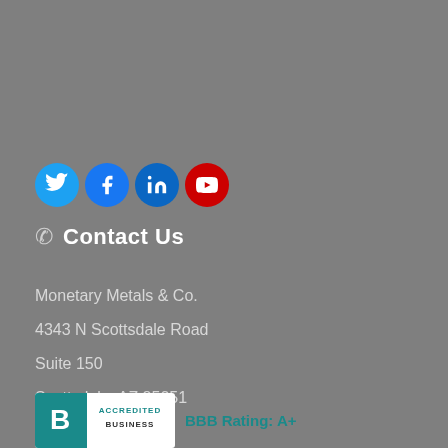[Figure (illustration): Social media icons row: Twitter (blue circle), Facebook (dark blue circle), LinkedIn (blue circle), YouTube (red rounded square circle)]
Contact Us
Monetary Metals & Co.
4343 N Scottsdale Road
Suite 150
Scottsdale, AZ 85251
[Figure (logo): BBB Accredited Business logo with text 'BBB Rating: A+']